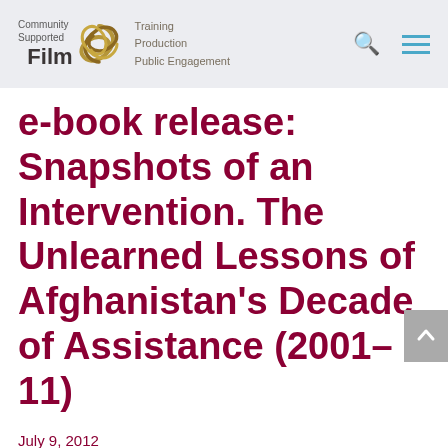Community Supported Film — Training Production Public Engagement
e-book release: Snapshots of an Intervention. The Unlearned Lessons of Afghanistan's Decade of Assistance (2001–11)
July 9, 2012
The idea for this volume was born in the